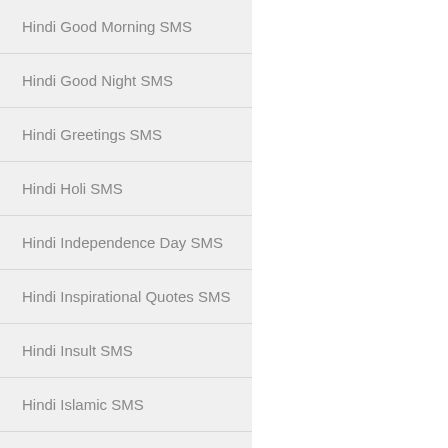Hindi Good Morning SMS
Hindi Good Night SMS
Hindi Greetings SMS
Hindi Holi SMS
Hindi Independence Day SMS
Hindi Inspirational Quotes SMS
Hindi Insult SMS
Hindi Islamic SMS
Hindi Kiss SMS
Hindi Love Quotes
Hindi Love SMS
Hindi Marriage SMS